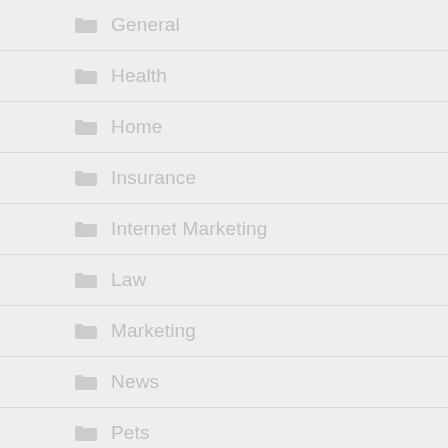General
Health
Home
Insurance
Internet Marketing
Law
Marketing
News
Pets
Real Estate